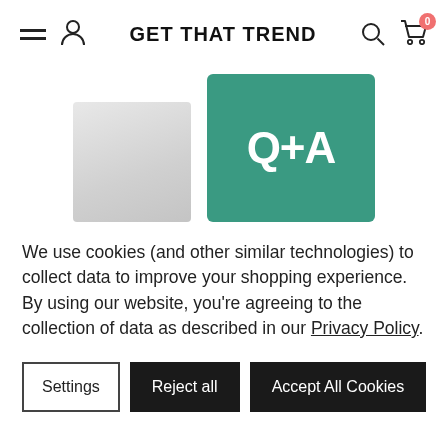GET THAT TREND
[Figure (photo): Two product images side by side: a white cylindrical product on the left and a teal/green Q+A branded card on the right with white bold text 'Q+A']
We use cookies (and other similar technologies) to collect data to improve your shopping experience. By using our website, you're agreeing to the collection of data as described in our Privacy Policy.
Settings | Reject all | Accept All Cookies